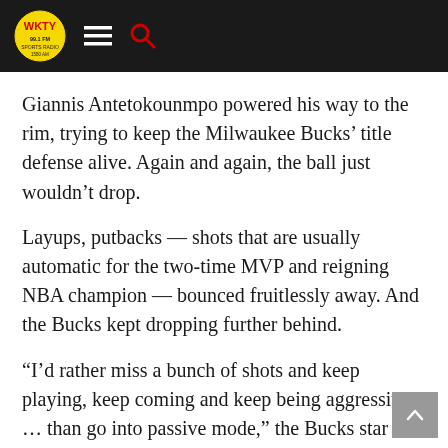WKTY logo, hamburger menu, search icon
Giannis Antetokounmpo powered his way to the rim, trying to keep the Milwaukee Bucks’ title defense alive. Again and again, the ball just wouldn’t drop.
Layups, putbacks — shots that are usually automatic for the two-time MVP and reigning NBA champion — bounced fruitlessly away. And the Bucks kept dropping further behind.
“I’d rather miss a bunch of shots and keep playing, keep coming and keep being aggressive … than go into passive mode,” the Bucks star said after the Celtics won Game 7 of the Eastern Conference